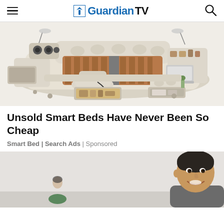GuardianTV
[Figure (photo): A high-tech smart bed with multiple features including speakers, storage drawers, massage chair, reading lamps, and shelving units, shown in cream/beige leather]
Unsold Smart Beds Have Never Been So Cheap
Smart Bed | Search Ads | Sponsored
[Figure (photo): A woman smiling at the camera with another person visible in the background, in a light-colored room]